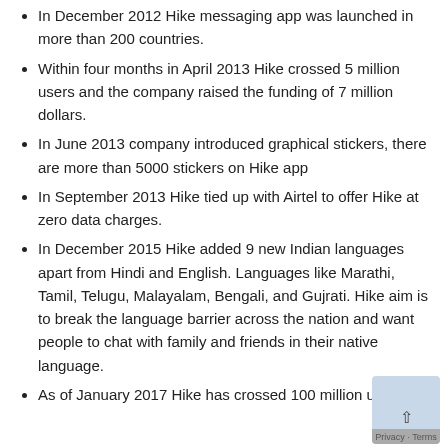In December 2012 Hike messaging app was launched in more than 200 countries.
Within four months in April 2013 Hike crossed 5 million users and the company raised the funding of 7 million dollars.
In June 2013 company introduced graphical stickers, there are more than 5000 stickers on Hike app
In September 2013 Hike tied up with Airtel to offer Hike at zero data charges.
In December 2015 Hike added 9 new Indian languages apart from Hindi and English. Languages like Marathi, Tamil, Telugu, Malayalam, Bengali, and Gujrati. Hike aim is to break the language barrier across the nation and want people to chat with family and friends in their native language.
As of January 2017 Hike has crossed 100 million users.